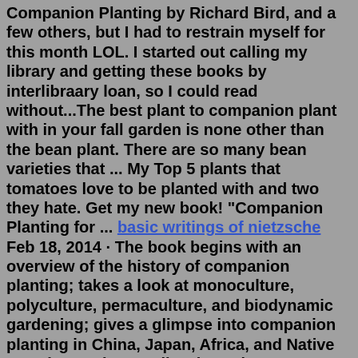Companion Planting by Richard Bird, and a few others, but I had to restrain myself for this month LOL. I started out calling my library and getting these books by interlibraary loan, so I could read without...The best plant to companion plant with in your fall garden is none other than the bean plant. There are so many bean varieties that ... My Top 5 plants that tomatoes love to be planted with and two they hate. Get my new book! "Companion Planting for ... basic writings of nietzsche Feb 18, 2014 · The book begins with an overview of the history of companion planting; takes a look at monoculture, polyculture, permaculture, and biodynamic gardening; gives a glimpse into companion planting in China, Japan, Africa, and Native American culture; talks about the microscopic world and the garden; looks at how outside elements influence the ... 3. Companion planting supports plant diversity, which is beneficial to the gardener, the soil and our ecosystem. Plant diversity gives us insect diversity and that Years ago, there was a book written called